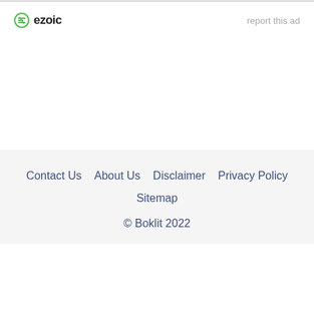[Figure (logo): Ezoic logo with green circle-E icon and bold 'ezoic' text]
report this ad
Contact Us  About Us  Disclaimer  Privacy Policy  Sitemap  © Boklit 2022